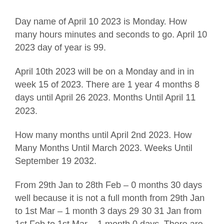Day name of April 10 2023 is Monday. How many hours minutes and seconds to go. April 10 2023 day of year is 99.
April 10th 2023 will be on a Monday and in in week 15 of 2023. There are 1 year 4 months 8 days until April 26 2023. Months Until April 11 2023.
How many months until April 2nd 2023. How Many Months Until March 2023. Weeks Until September 19 2032.
From 29th Jan to 28th Feb – 0 months 30 days well because it is not a full month from 29th Jan to 1st Mar – 1 month 3 days 29 30 31 Jan from 1st Feb to 1st Mar – 1 month 0 days. There are 15 months from now to April 2023. 1 year 3 months and 3 days.